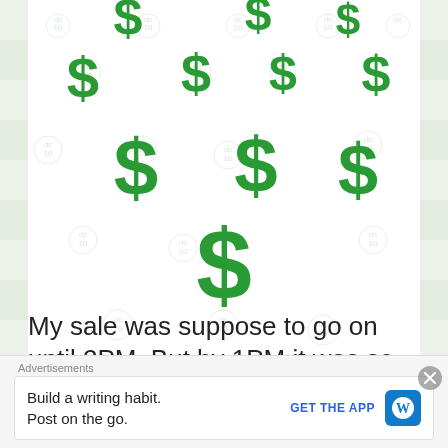[Figure (illustration): Multiple large green dollar signs ($) falling/floating against a white background with faint circular coin watermarks scattered around. Dollar signs vary in size with the largest in the center-bottom area.]
My sale was suppose to go on until 2PM. But by 1PM it was so windy (this city and particular this area is all wind) some of my
Advertisements
Build a writing habit.
Post on the go.
GET THE APP